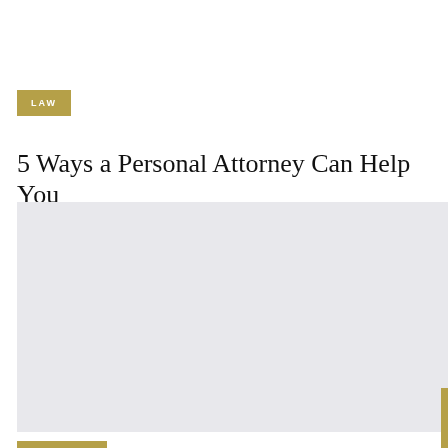LAW
5 Ways a Personal Attorney Can Help You
[Figure (photo): A large light grey placeholder image block occupying the lower portion of the page]